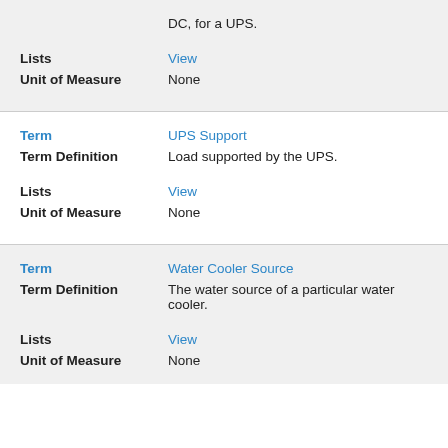DC, for a UPS.
Lists: View
Unit of Measure: None
Term: UPS Support
Term Definition: Load supported by the UPS.
Lists: View
Unit of Measure: None
Term: Water Cooler Source
Term Definition: The water source of a particular water cooler.
Lists: View
Unit of Measure: None